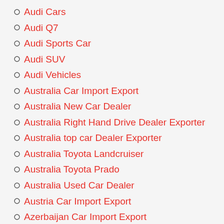Audi Cars
Audi Q7
Audi Sports Car
Audi SUV
Audi Vehicles
Australia Car Import Export
Australia New Car Dealer
Australia Right Hand Drive Dealer Exporter
Australia top car Dealer Exporter
Australia Toyota Landcruiser
Australia Toyota Prado
Australia Used Car Dealer
Austria Car Import Export
Azerbaijan Car Import Export
Bahamas Car Import Export
Bahrain Car Import Export